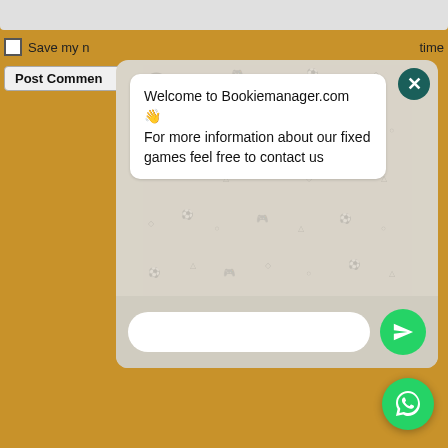Save my n
time
Post Commen
[Figure (screenshot): WhatsApp chat popup overlay on a golden/brown background with a message bubble saying 'Welcome to Bookiemanager.com 👋 For more information about our fixed games feel free to contact us', with a close button (X) at top right, and a text input field with a green send button at the bottom. A green WhatsApp floating action button is visible in the bottom right corner.]
Welcome to Bookiemanager.com 👋
For more information about our fixed games feel free to contact us